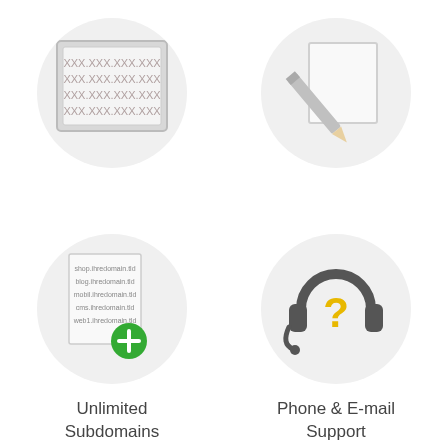[Figure (illustration): Circle icon containing a framed display/monitor with 4 rows of XXX.XXX.XXX.XXX placeholder text]
[Figure (illustration): Circle icon containing a pencil resting on a white square/paper]
Unlimited Subdomains
Phone & E-mail Support
[Figure (illustration): Circle icon containing a document listing subdomains (shop.ihredomain.tld, blog.ihredomain.tld, mobil.ihredomain.tld, cms.ihredomain.tld, web1.ihredomain.tld) with a green plus button]
[Figure (illustration): Circle icon containing a dark headset with a yellow question mark]